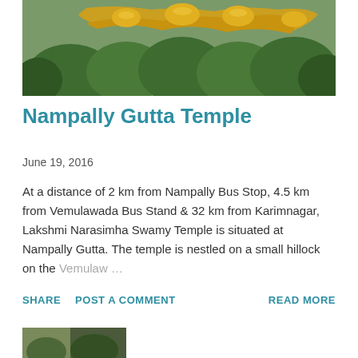[Figure (photo): Outdoor photo showing golden/yellow sculptural forms (possibly a temple deity or decoration) surrounded by green trees]
Nampally Gutta Temple
June 19, 2016
At a distance of 2 km from Nampally Bus Stop, 4.5 km from Vemulawada Bus Stand & 32 km from Karimnagar, Lakshmi Narasimha Swamy Temple is situated at Nampally Gutta. The temple is nestled on a small hillock on the Vemulaw...
SHARE   POST A COMMENT   READ MORE
[Figure (photo): Partial bottom image, cropped]